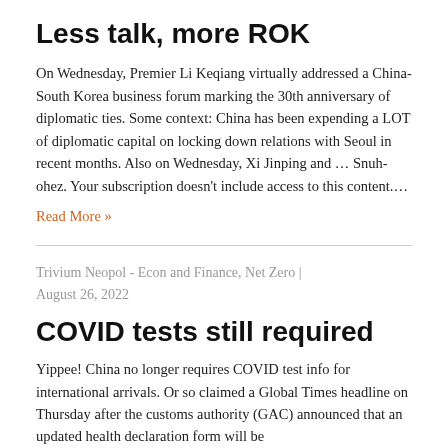Less talk, more ROK
On Wednesday, Premier Li Keqiang virtually addressed a China-South Korea business forum marking the 30th anniversary of diplomatic ties. Some context: China has been expending a LOT of diplomatic capital on locking down relations with Seoul in recent months. Also on Wednesday, Xi Jinping and … Snuh-ohez. Your subscription doesn't include access to this content….
Read More »
Trivium Neopol - Econ and Finance, Net Zero | August 26, 2022
COVID tests still required
Yippee! China no longer requires COVID test info for international arrivals. Or so claimed a Global Times headline on Thursday after the customs authority (GAC) announced that an updated health declaration form will be